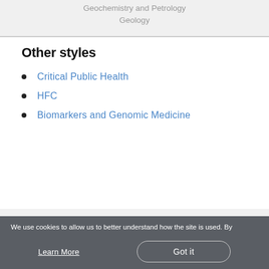Geochemistry and Petrology
Geology
Other styles
Critical Public Health
HFC
Biomarkers and Genomic Medicine
We use cookies to allow us to better understand how the site is used. By continuing to use this site you consent to this policy.
Learn More
Got it